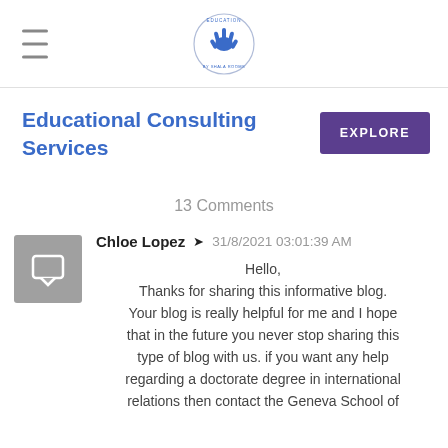Education by Shala Rooms logo with hamburger menu
Educational Consulting Services
EXPLORE
13 Comments
Chloe Lopez → 31/8/2021 03:01:39 AM
Hello,
Thanks for sharing this informative blog. Your blog is really helpful for me and I hope that in the future you never stop sharing this type of blog with us. if you want any help regarding a doctorate degree in international relations then contact the Geneva School of